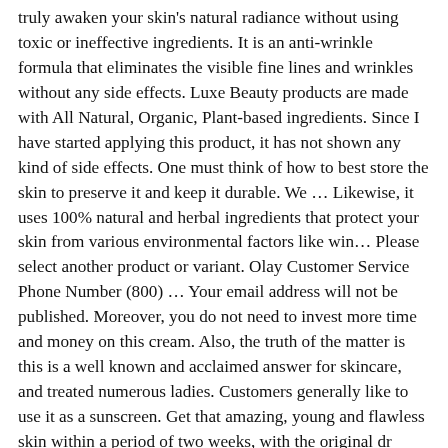truly awaken your skin's natural radiance without using toxic or ineffective ingredients. It is an anti-wrinkle formula that eliminates the visible fine lines and wrinkles without any side effects. Luxe Beauty products are made with All Natural, Organic, Plant-based ingredients. Since I have started applying this product, it has not shown any kind of side effects. One must think of how to best store the skin to preserve it and keep it durable. We … Likewise, it uses 100% natural and herbal ingredients that protect your skin from various environmental factors like win… Please select another product or variant. Olay Customer Service Phone Number (800) … Your email address will not be published. Moreover, you do not need to invest more time and money on this cream. Also, the truth of the matter is this is a well known and acclaimed answer for skincare, and treated numerous ladies. Customers generally like to use it as a sunscreen. Get that amazing, young and flawless skin within a period of two weeks, with the original dr rashel vitamin c face cream, … Via Beauty Cream More Info Let's face it, aging is depressing. The cream is free, but only for 14 days. Another benefit is that you may get discounts if you buy in bulk. On POPSUGAR Beauty you will find news, photos and videos on beauty, style, and Skin Care. If you feel early anti-aging signs like dark circles and fine line under your eyes are increasing frequently and there is patchiness in your skin tone. It means that their product will be Alpha Evolution (CA) – Don't miss our 80% OFF Promo! Then move your hands to your face little by little. Consent is not a condition of any purchase. Stemuderm – Overview: The